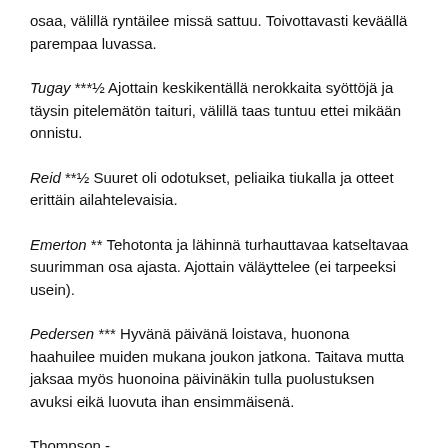osaa, välillä ryntäilee missä sattuu. Toivottavasti keväällä parempaa luvassa.
Tugay ***½ Ajottain keskikentällä nerokkaita syöttöjä ja täysin pitelemätön taituri, välillä taas tuntuu ettei mikään onnistu.
Reid **½ Suuret oli odotukset, peliaika tiukalla ja otteet erittäin ailahtelevaisia.
Emerton ** Tehotonta ja lähinnä turhauttavaa katseltavaa suurimman osa ajasta. Ajottain väläyttelee (ei tarpeeksi usein).
Pedersen *** Hyvänä päivänä loistava, huonona haahuilee muiden mukana joukon jatkona. Taitava mutta jaksaa myös huonoina päivinäkin tulla puolustuksen avuksi eikä luovuta ihan ensimmäisenä.
Thompson -